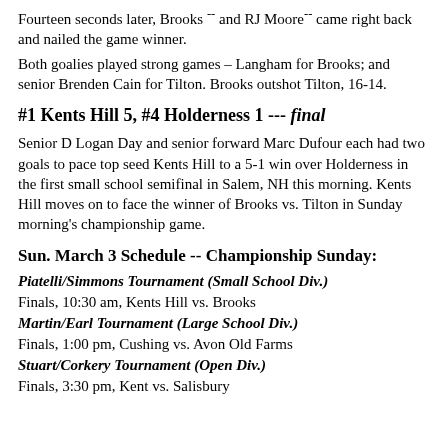Fourteen seconds later, Brooks -- and RJ Moore-- came right back and nailed the game winner.
Both goalies played strong games – Langham for Brooks; and senior Brenden Cain for Tilton. Brooks outshot Tilton, 16-14.
#1 Kents Hill 5, #4 Holderness 1 --- final
Senior D Logan Day and senior forward Marc Dufour each had two goals to pace top seed Kents Hill to a 5-1 win over Holderness in the first small school semifinal in Salem, NH this morning. Kents Hill moves on to face the winner of Brooks vs. Tilton in Sunday morning's championship game.
Sun. March 3 Schedule -- Championship Sunday:
Piatelli/Simmons Tournament (Small School Div.)
Finals, 10:30 am, Kents Hill vs. Brooks
Martin/Earl Tournament (Large School Div.)
Finals, 1:00 pm, Cushing vs. Avon Old Farms
Stuart/Corkery Tournament (Open Div.)
Finals, 3:30 pm, Kent vs. Salisbury